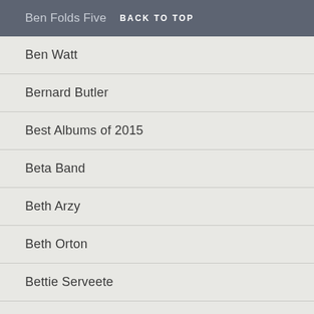Ben Folds Five  BACK TO TOP
Ben Watt
Bernard Butler
Best Albums of 2015
Beta Band
Beth Arzy
Beth Orton
Bettie Serveete
Betty Boo
Bettye Swann
Biff Bang Pow!
Biffy Clyro
Big Audio Dynamite